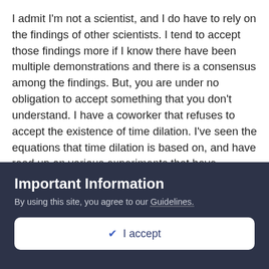I admit I'm not a scientist, and I do have to rely on the findings of other scientists. I tend to accept those findings more if I know there have been multiple demonstrations and there is a consensus among the findings. But, you are under no obligation to accept something that you don't understand. I have a coworker that refuses to accept the existence of time dilation. I've seen the equations that time dilation is based on, and have read up on various experiments that have confirmed that time dilation is a real thing. Our GPS system has to adjust for time dilation due to being further away from the earth than we are. But, my coworker is not convinced. That's fine with me. It's a hard concept to wrap your mind around. For me, the evidence is strong and conclusive. I don't have this same type of evidence for these religious claims. It seems more plausible that the religious testimony is in error than all the scientific understanding we have. If that seems cynical to you, then so be
Important Information
By using this site, you agree to our Guidelines.
✔ I accept